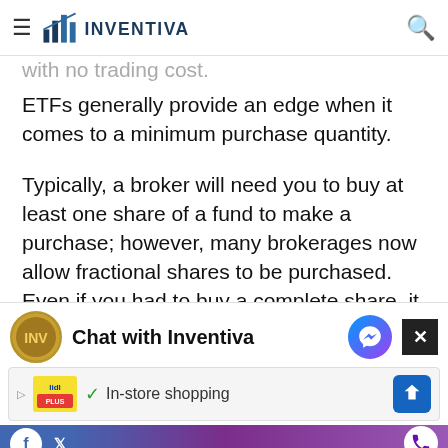INVENTIVA
In addition, brokerages may charge a fee for back-end load that come as high as $50 a trade, while the top brokers provide many funds with no trading cost.
ETFs generally provide an edge when it comes to a minimum purchase quantity.
Typically, a broker will need you to buy at least one share of a fund to make a purchase; however, many brokerages now allow fractional shares to be purchased. Even if you had to buy a complete share, it probably cost anything from $20 to $250, which is still a little sum.
Chat with Inventiva
In-store shopping